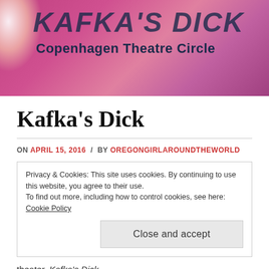[Figure (illustration): Pink/magenta watercolor-style header banner with stylized text 'KAFKA'S DICK' and subtitle 'Copenhagen Theatre Circle'. White/golden light splash on the left side.]
Kafka's Dick
ON APRIL 15, 2016 / BY OREGONGIRLAROUNDTHEWORLD
Privacy & Cookies: This site uses cookies. By continuing to use this website, you agree to their use. To find out more, including how to control cookies, see here: Cookie Policy
Close and accept
theater. Kafka's Dick